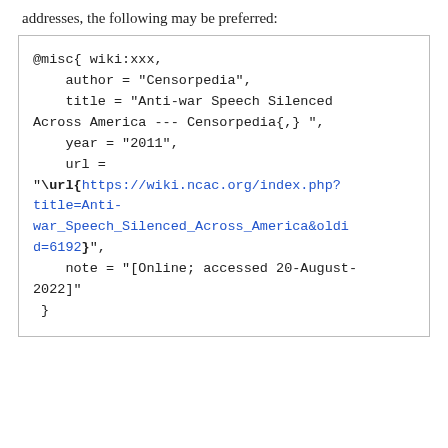addresses, the following may be preferred:
@misc{ wiki:xxx,
    author = "Censorpedia",
    title = "Anti-war Speech Silenced Across America --- Censorpedia{,} ",
    year = "2011",
    url =
"\url{https://wiki.ncac.org/index.php?title=Anti-war_Speech_Silenced_Across_America&oldid=6192}",
    note = "[Online; accessed 20-August-2022]"
 }